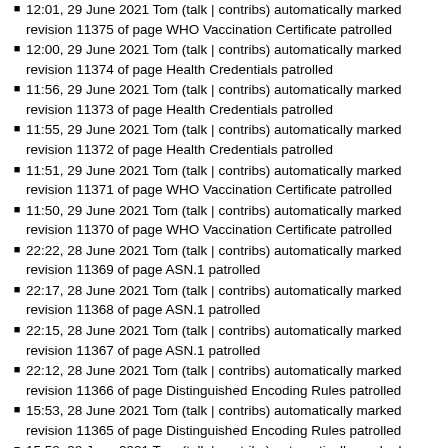12:01, 29 June 2021 Tom (talk | contribs) automatically marked revision 11375 of page WHO Vaccination Certificate patrolled
12:00, 29 June 2021 Tom (talk | contribs) automatically marked revision 11374 of page Health Credentials patrolled
11:56, 29 June 2021 Tom (talk | contribs) automatically marked revision 11373 of page Health Credentials patrolled
11:55, 29 June 2021 Tom (talk | contribs) automatically marked revision 11372 of page Health Credentials patrolled
11:51, 29 June 2021 Tom (talk | contribs) automatically marked revision 11371 of page WHO Vaccination Certificate patrolled
11:50, 29 June 2021 Tom (talk | contribs) automatically marked revision 11370 of page WHO Vaccination Certificate patrolled
22:22, 28 June 2021 Tom (talk | contribs) automatically marked revision 11369 of page ASN.1 patrolled
22:17, 28 June 2021 Tom (talk | contribs) automatically marked revision 11368 of page ASN.1 patrolled
22:15, 28 June 2021 Tom (talk | contribs) automatically marked revision 11367 of page ASN.1 patrolled
22:12, 28 June 2021 Tom (talk | contribs) automatically marked revision 11366 of page Distinguished Encoding Rules patrolled
15:53, 28 June 2021 Tom (talk | contribs) automatically marked revision 11365 of page Distinguished Encoding Rules patrolled
15:52, 28 June 2021 Tom (talk | contribs) automatically marked revision 11364 of page Distinguished Encoding Rules patrolled
15:36, 28 June 2021 Tom (talk | contribs) automatically marked revision 11363 of page ASN.1 patrolled